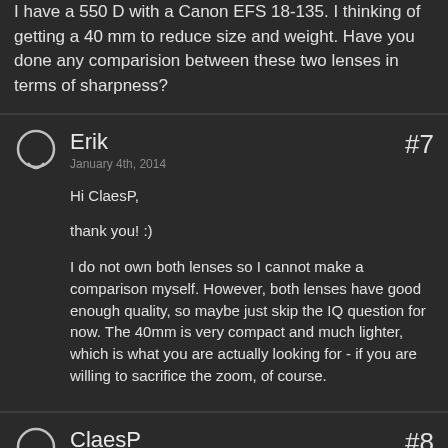I have a 550 D with a Canon EFS 18-135. I thinking of getting a 40 mm to reduce size and weight. Have you done any comparision between these two lenses in terms of sharpness?
Erik
January 4th, 2014
#7
Hi ClaesP,

thank you! :)

I do not own both lenses so I cannot make a comparison myself. However, both lenses have good enough quality, so maybe just skip the IQ question for now. The 40mm is very compact and much lighter, which is what you are actually looking for - if you are willing to sacrifice the zoom, of course.
ClaesP
#8